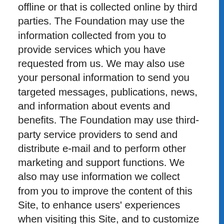offline or that is collected online by third parties. The Foundation may use the information collected from you to provide services which you have requested from us. We may also use your personal information to send you targeted messages, publications, news, and information about events and benefits. The Foundation may use third-party service providers to send and distribute e-mail and to perform other marketing and support functions. We also may use information we collect from you to improve the content of this Site, to enhance users' experiences when visiting this Site, and to customize the content and layout of this Site for each individual user. Sharing of Personal Information Except as set forth in this Privacy Policy or as specifically agreed to by you, we will not disclose any information we gather from you on our Site. We may share your personal information with our affiliates or with select third-party organizations with similar or complementary missions and objectives. From time to time, we may partner with other organizations or companies to provide co-sponsored or co-branded services or events, or to collaborate on a project or activity, and may share your personal information with such entities. Additionally, the Foundation may provide your personal information to service providers or contractors to perform